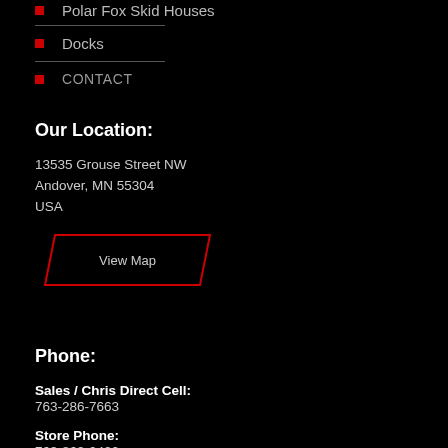Polar Fox Skid Houses
Docks
CONTACT
Our Location:
13535 Grouse Street NW
Andover, MN 55304
USA
[Figure (other): Red parallelogram-shaped button labeled 'View Map']
Phone:
Sales / Chris Direct Cell:
763-286-7663
Store Phone:
763-862-0400